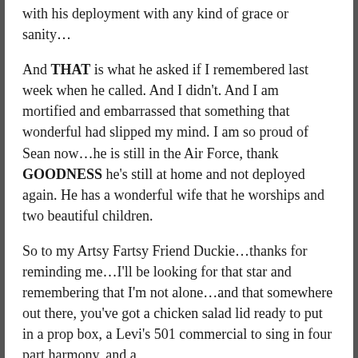with his deployment with any kind of grace or sanity...
And THAT is what he asked if I remembered last week when he called. And I didn't. And I am mortified and embarrassed that something that wonderful had slipped my mind. I am so proud of Sean now...he is still in the Air Force, thank GOODNESS he's still at home and not deployed again. He has a wonderful wife that he worships and two beautiful children.
So to my Artsy Fartsy Friend Duckie...thanks for reminding me...I'll be looking for that star and remembering that I'm not alone...and that somewhere out there, you've got a chicken salad lid ready to put in a prop box, a Levi's 501 commercial to sing in four part harmony, and a